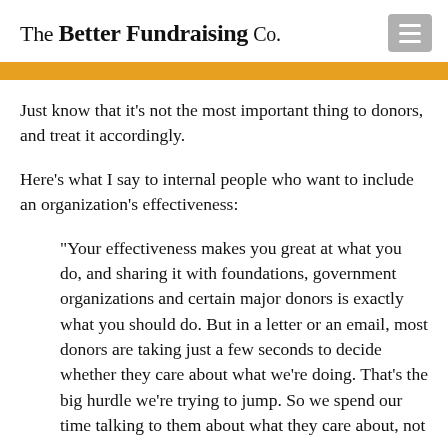The Better Fundraising Co.
Just know that it’s not the most important thing to donors, and treat it accordingly.
Here’s what I say to internal people who want to include an organization’s effectiveness:
“Your effectiveness makes you great at what you do, and sharing it with foundations, government organizations and certain major donors is exactly what you should do. But in a letter or an email, most donors are taking just a few seconds to decide whether they care about what we’re doing. That’s the big hurdle we’re trying to jump. So we spend our time talking to them about what they care about, not